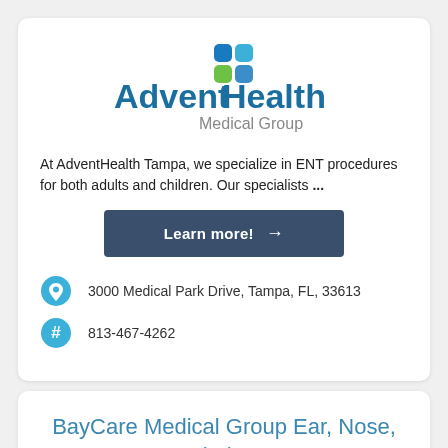[Figure (logo): AdventHealth Medical Group logo with colorful leaf/cross icon above the text]
At AdventHealth Tampa, we specialize in ENT procedures for both adults and children. Our specialists ...
Learn more! →
3000 Medical Park Drive, Tampa, FL, 33613
813-467-4262
BayCare Medical Group Ear, Nose, and Throat